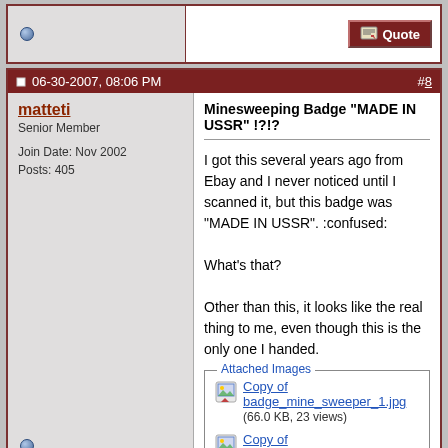06-30-2007, 08:06 PM
#8
matteti
Senior Member
Join Date: Nov 2002
Posts: 405
Minesweeping Badge "MADE IN USSR" !?!?
I got this several years ago from Ebay and I never noticed until I scanned it, but this badge was "MADE IN USSR". :confused:

What's that?

Other than this, it looks like the real thing to me, even though this is the only one I handed.
Attached Images
Copy of badge_mine_sweeper_1.jpg
(66.0 KB, 23 views)
Copy of badge_mine_sweeper_2.jpg
(26.8 KB, 27 views)
06-30-2007, 08:34 PM
#9